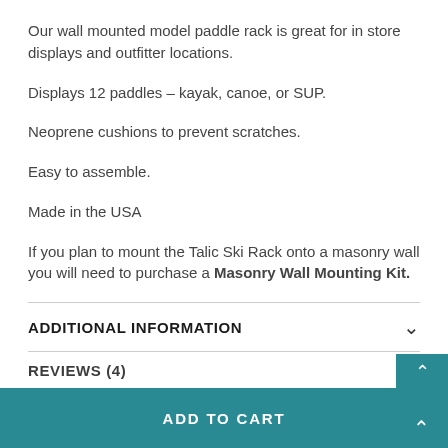Our wall mounted model paddle rack is great for in store displays and outfitter locations.
Displays 12 paddles – kayak, canoe, or SUP.
Neoprene cushions to prevent scratches.
Easy to assemble.
Made in the USA
If you plan to mount the Talic Ski Rack onto a masonry wall you will need to purchase a Masonry Wall Mounting Kit.
ADDITIONAL INFORMATION
REVIEWS (4)